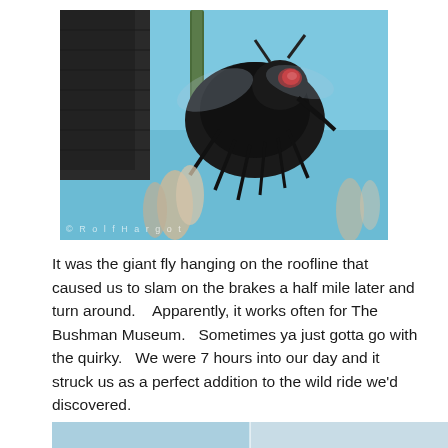[Figure (photo): A large black giant fly sculpture mounted on the roofline of a dark wooden building, against a bright blue sky, with dry grassy plants in the foreground. A watermark reads '© Rolf Hargot' at the bottom left.]
It was the giant fly hanging on the roofline that caused us to slam on the brakes a half mile later and turn around.    Apparently, it works often for The Bushman Museum.   Sometimes ya just gotta go with the quirky.    We were 7 hours into our day and it struck us as a perfect addition to the wild ride we'd discovered.
[Figure (photo): Partial view of another photograph at the bottom of the page, showing a light blue and white outdoor scene.]